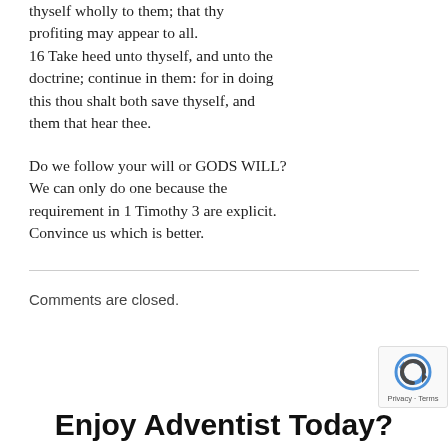thyself wholly to them; that thy profiting may appear to all. 16 Take heed unto thyself, and unto the doctrine; continue in them: for in doing this thou shalt both save thyself, and them that hear thee.

Do we follow your will or GODS WILL? We can only do one because the requirement in 1 Timothy 3 are explicit. Convince us which is better.
Comments are closed.
Enjoy Adventist Today?